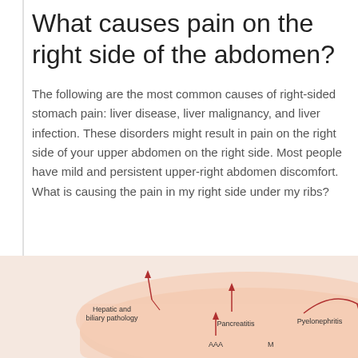What causes pain on the right side of the abdomen?
The following are the most common causes of right-sided stomach pain: liver disease, liver malignancy, and liver infection. These disorders might result in pain on the right side of your upper abdomen on the right side. Most people have mild and persistent upper-right abdomen discomfort. What is causing the pain in my right side under my ribs?
[Figure (illustration): Medical anatomy illustration of the abdomen showing common patterns of pain radiation. Labels include: Hepatic and biliary pathology (upper left with upward arrow), Pancreatitis (center with upward arrow), Pyelonephritis (right with curved arrow), AAA (lower center with upward arrow), and partially visible text 'Common patterns of pain radiation'. A YouTube play button overlay is visible on the right portion of the image. An 'X' close button in orange is in the bottom right corner.]